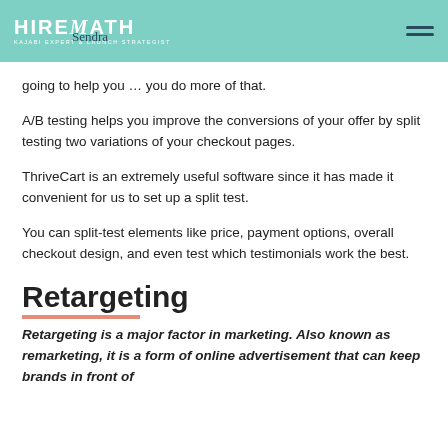HIREMATH — Kajabi Expert & Launch Strategist
going to help you … you do more of that.
A/B testing helps you improve the conversions of your offer by split testing two variations of your checkout pages.
ThriveCart is an extremely useful software since it has made it convenient for us to set up a split test.
You can split-test elements like price, payment options, overall checkout design, and even test which testimonials work the best.
Retargeting
Retargeting is a major factor in marketing. Also known as remarketing, it is a form of online advertisement that can keep brands in front of